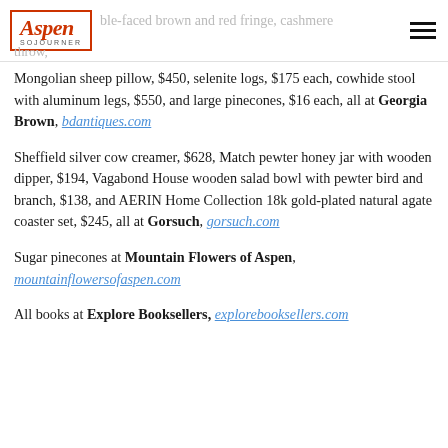Aspen Sojourner
Mongolian sheep pillow, $450, selenite logs, $175 each, cowhide stool with aluminum legs, $550, and large pinecones, $16 each, all at Georgia Brown, bdantiques.com
Sheffield silver cow creamer, $628, Match pewter honey jar with wooden dipper, $194, Vagabond House wooden salad bowl with pewter bird and branch, $138, and AERIN Home Collection 18k gold-plated natural agate coaster set, $245, all at Gorsuch, gorsuch.com
Sugar pinecones at Mountain Flowers of Aspen, mountainflowersofaspen.com
All books at Explore Booksellers, explorebooksellers.com